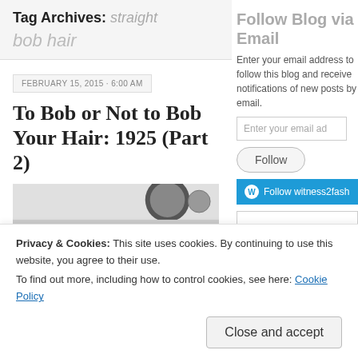Tag Archives: straight bob hair
FEBRUARY 15, 2015 · 6:00 AM
To Bob or Not to Bob Your Hair: 1925 (Part 2)
[Figure (photo): Partial view of a black and white photo related to 1925 bob hair styles]
Follow Blog via Email
Enter your email address to follow this blog and receive notifications of new posts by email.
Follow
Follow witness2fash
Privacy & Cookies: This site uses cookies. By continuing to use this website, you agree to their use.
To find out more, including how to control cookies, see here: Cookie Policy
Close and accept
Policies &
Close and accept